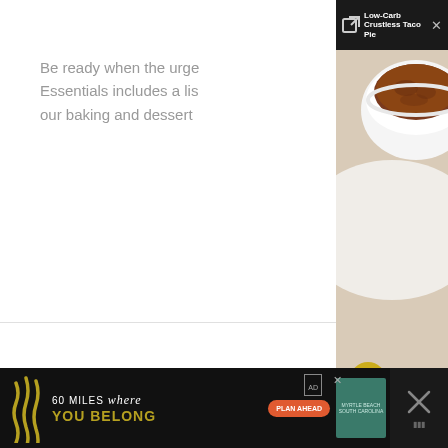Be ready when the urge strikes! Keto Essentials includes a list of... our baking and dessert...
[Figure (screenshot): Popup overlay showing a food photo (bowl of meat/chili) with header title 'Low-Carb Crustless Taco Pie' and a close button]
[Figure (screenshot): Social sharing sidebar with Pinterest, LinkedIn, Reddit, and Yummly icons on a dark gold/olive background]
[Figure (screenshot): Loading spinner centered in the white content area]
[Figure (screenshot): Ad banner at bottom: '60 MILES where YOU BELONG' Myrtle Beach advertisement with PLAN AHEAD button]